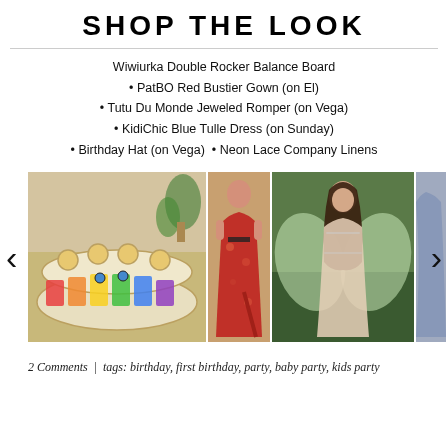SHOP THE LOOK
Wiwiurka Double Rocker Balance Board
PatBO Red Bustier Gown (on El)
Tutu Du Monde Jeweled Romper (on Vega)
KidiChic Blue Tulle Dress (on Sunday)
Birthday Hat (on Vega)
Neon Lace Company Linens
[Figure (photo): Carousel of product images: wooden double rocker balance board with rainbow colors, red floral bustier gown on a woman, jeweled romper on a young girl with wings, and a partial view of a blue tulle dress]
2 Comments  |  tags: birthday, first birthday, party, baby party, kids party